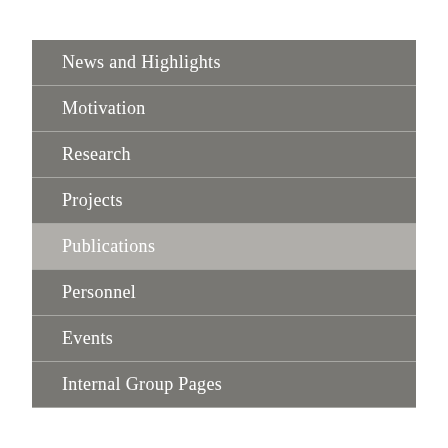News and Highlights
Motivation
Research
Projects
Publications
Personnel
Events
Internal Group Pages